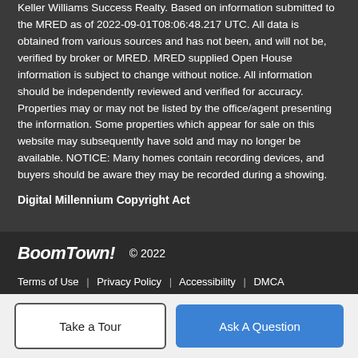Keller Williams Success Realty. Based on information submitted to the MRED as of 2022-09-01T08:06:48.217 UTC. All data is obtained from various sources and has not been, and will not be, verified by broker or MRED. MRED supplied Open House information is subject to change without notice. All information should be independently reviewed and verified for accuracy. Properties may or may not be listed by the office/agent presenting the information. Some properties which appear for sale on this website may subsequently have sold and may no longer be available. NOTICE: Many homes contain recording devices, and buyers should be aware they may be recorded during a showing.
Digital Millennium Copyright Act
BoomTown! © 2022
Terms of Use | Privacy Policy | Accessibility | DMCA | Listings Sitemap
Take a Tour
Ask A Question